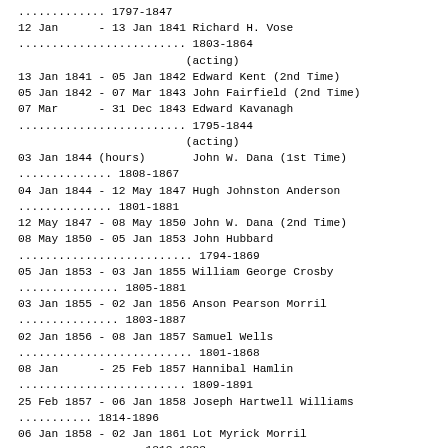............. 1797-1847
12 Jan      - 13 Jan 1841 Richard H. Vose
......................... 1803-1864
                         (acting)
13 Jan 1841 - 05 Jan 1842 Edward Kent (2nd Time)
05 Jan 1842 - 07 Mar 1843 John Fairfield (2nd Time)
07 Mar      - 31 Dec 1843 Edward Kavanagh
......................... 1795-1844
                         (acting)
03 Jan 1844 (hours)       John W. Dana (1st Time)
.............. 1808-1867
04 Jan 1844 - 12 May 1847 Hugh Johnston Anderson
.............. 1801-1881
12 May 1847 - 08 May 1850 John W. Dana (2nd Time)
08 May 1850 - 05 Jan 1853 John Hubbard
.......................... 1794-1869
05 Jan 1853 - 03 Jan 1855 William George Crosby
............... 1805-1881
03 Jan 1855 - 02 Jan 1856 Anson Pearson Morril
............... 1803-1887
02 Jan 1856 - 08 Jan 1857 Samuel Wells
.......................... 1801-1868
08 Jan      - 25 Feb 1857 Hannibal Hamlin
......................... 1809-1891
25 Feb 1857 - 06 Jan 1858 Joseph Hartwell Williams
........... 1814-1896
06 Jan 1858 - 02 Jan 1861 Lot Myrick Morril
.................. 1813-1883
02 Jan 1861 - 07 Jan 1863 Israel Washburn
.................. 1813-1883
07 Jan 1863 - 06 Jan 1864 Abner Coburn